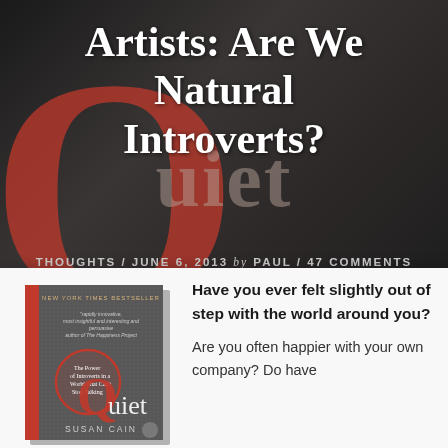Artists: Are We Natural Introverts?
THOUGHTS / JUNE 6, 2013 by PAUL / 47 COMMENTS
[Figure (photo): Book cover of 'Quiet: The Power of Introverts in a World That Can't Stop Talking' by Susan Cain, shown as a physical book with a red spine and a large red Q on the cover, displayed against a dark background.]
Have you ever felt slightly out of step with the world around you?
Are you often happier with your own company? Do have